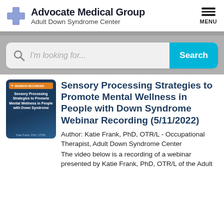Advocate Medical Group Adult Down Syndrome Center
[Figure (screenshot): Search bar with magnifying glass icon, placeholder text 'I'm looking for...' and a cyan Search button]
[Figure (illustration): Webinar recording thumbnail with dark blue background showing title 'Sensory Processing Strategies to Promote Mental Wellness in People with Down Syndrome' by Kate Frank PhD, OTR/L]
Sensory Processing Strategies to Promote Mental Wellness in People with Down Syndrome Webinar Recording (5/11/2022)
Author: Katie Frank, PhD, OTR/L - Occupational Therapist, Adult Down Syndrome Center
The video below is a recording of a webinar presented by Katie Frank, PhD, OTR/L of the Adult...